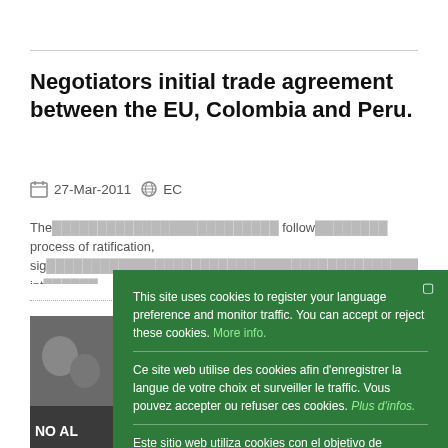Negotiators initial trade agreement between the EU, Colombia and Peru.
27-Mar-2011  EC
The initialling will be followed by a long process of ratification, signature and entry into force...
This site uses cookies to register your language preference and monitor traffic. You can accept or reject these cookies. More info.
Ce site web utilise des cookies afin d'enregistrer la langue de votre choix et surveiller le traffic. Vous pouvez accepter ou refuser ces cookies. Plus d'infos.
Este sitio web utiliza cookies con el objetivo de registrar su idioma preferido y controlar el tráfico. Puede aceptar o rechazar estas cookies. Mayor información.